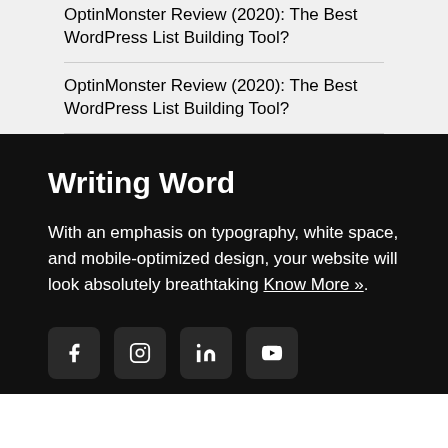OptinMonster Review (2020): The Best WordPress List Building Tool?
OptinMonster Review (2020): The Best WordPress List Building Tool?
Writing Word
With an emphasis on typography, white space, and mobile-optimized design, your website will look absolutely breathtaking Know More ».
[Figure (other): Social media icons: Facebook, Instagram, LinkedIn, YouTube]